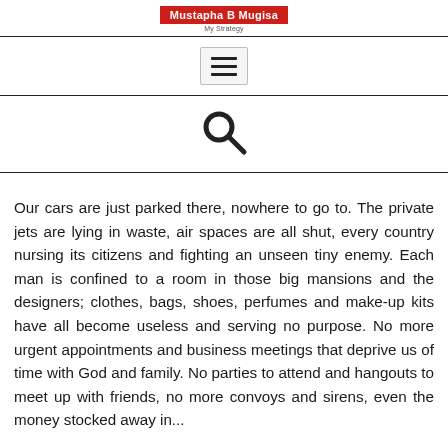Mustapha B Mugisa | My Strategy
[Figure (other): Hamburger menu icon (three horizontal lines) inside a light gray bordered box]
[Figure (other): Search magnifying glass icon]
Our cars are just parked there, nowhere to go to. The private jets are lying in waste, air spaces are all shut, every country nursing its citizens and fighting an unseen tiny enemy. Each man is confined to a room in those big mansions and the designers; clothes, bags, shoes, perfumes and make-up kits have all become useless and serving no purpose. No more urgent appointments and business meetings that deprive us of time with God and family. No parties to attend and hangouts to meet up with friends, no more convoys and sirens, even the money stocked away in...